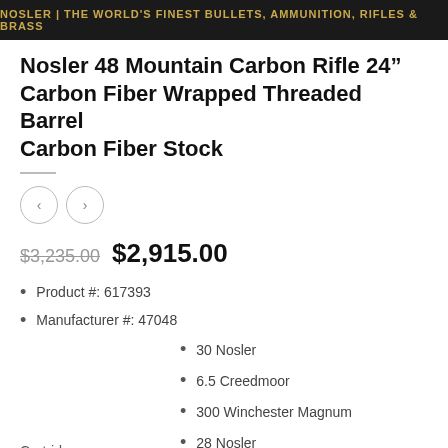NOSLER | THE WORLD'S FINEST BULLETS, AMMUNITION, RIFLES & BRASS
Nosler 48 Mountain Carbon Rifle 24" Carbon Fiber Wrapped Threaded Barrel Carbon Fiber Stock
$3,235.00  $2,915.00
Product #: 617393
Manufacturer #: 47048
30 Nosler
6.5 Creedmoor
300 Winchester Magnum
28 Nosler
Cartridge